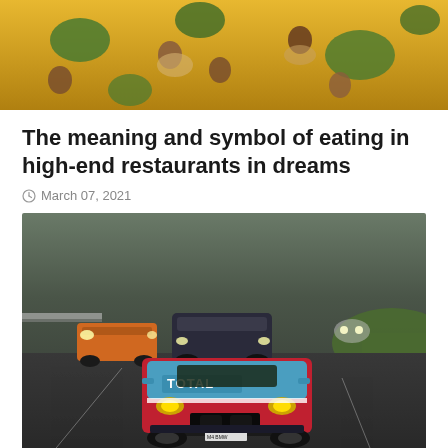[Figure (photo): Overhead view of a restaurant with yellow/warm tones, people seated at tables with green plants visible]
The meaning and symbol of eating in high-end restaurants in dreams
March 07, 2021
[Figure (photo): Racing cars on a track in foggy/misty conditions. A BMW GT3 car with Total sponsorship in red, white and blue livery leads, followed by a Mercedes AMG in orange and other cars. The Nürburgring circuit with green grass and red-white barriers visible.]